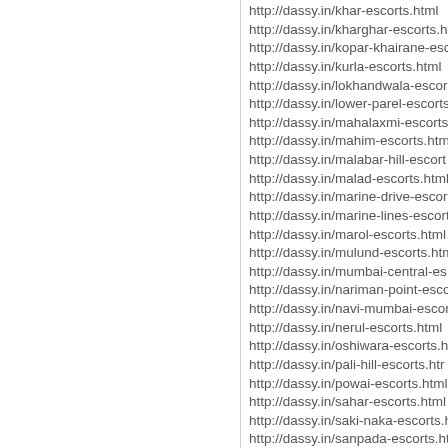http://dassy.in/khar-escorts.html
http://dassy.in/kharghar-escorts.ht
http://dassy.in/kopar-khairane-esc
http://dassy.in/kurla-escorts.html
http://dassy.in/lokhandwala-escor
http://dassy.in/lower-parel-escorts
http://dassy.in/mahalaxmi-escorts
http://dassy.in/mahim-escorts.htm
http://dassy.in/malabar-hill-escort
http://dassy.in/malad-escorts.html
http://dassy.in/marine-drive-escor
http://dassy.in/marine-lines-escort
http://dassy.in/marol-escorts.html
http://dassy.in/mulund-escorts.htm
http://dassy.in/mumbai-central-es
http://dassy.in/nariman-point-esco
http://dassy.in/navi-mumbai-escor
http://dassy.in/nerul-escorts.html
http://dassy.in/oshiwara-escorts.ht
http://dassy.in/pali-hill-escorts.htr
http://dassy.in/powai-escorts.html
http://dassy.in/sahar-escorts.html
http://dassy.in/saki-naka-escorts.h
http://dassy.in/sanpada-escorts.htr
http://dassy.in/santa-cruz-escorts.h